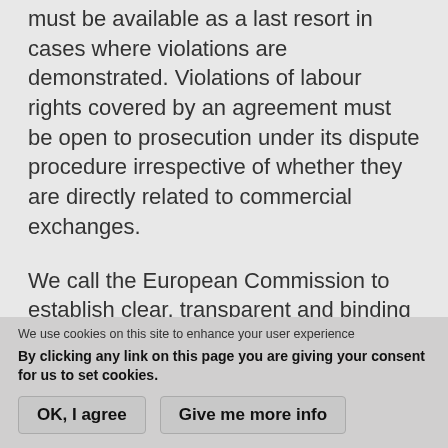must be available as a last resort in cases where violations are demonstrated. Violations of labour rights covered by an agreement must be open to prosecution under its dispute procedure irrespective of whether they are directly related to commercial exchanges.
We call the European Commission to establish clear, transparent and binding roadmaps in the pre-negotiating phase, focusing on the implementation of a legal and policy framework to guarantee freedom of association and the right to collective bargaining along with strict labour inspections
We use cookies on this site to enhance your user experience
By clicking any link on this page you are giving your consent for us to set cookies.